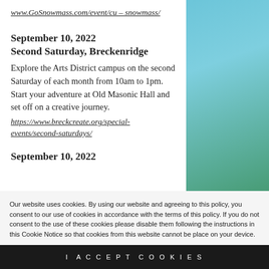www.GoSnowmass.com/event/cu – snowmass/
September 10, 2022
Second Saturday, Breckenridge
Explore the Arts District campus on the second Saturday of each month from 10am to 1pm. Start your adventure at Old Masonic Hall and set off on a creative journey. https://www.breckcreate.org/special-events/second-saturdays/
September 10, 2022
Our website uses cookies. By using our website and agreeing to this policy, you consent to our use of cookies in accordance with the terms of this policy. If you do not consent to the use of these cookies please disable them following the instructions in this Cookie Notice so that cookies from this website cannot be placed on your device.
I ACCEPT COOKIES